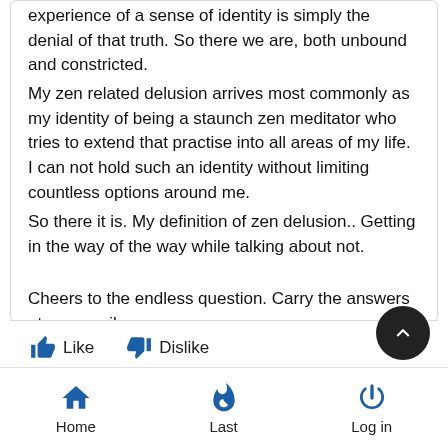experience of a sense of identity is simply the denial of that truth. So there we are, both unbound and constricted.
My zen related delusion arrives most commonly as my identity of being a staunch zen meditator who tries to extend that practise into all areas of my life. I can not hold such an identity without limiting countless options around me.
So there it is. My definition of zen delusion.. Getting in the way of the way while talking about not.
Cheers to the endless question. Carry the answers at your peril.
Home  Last  Log in